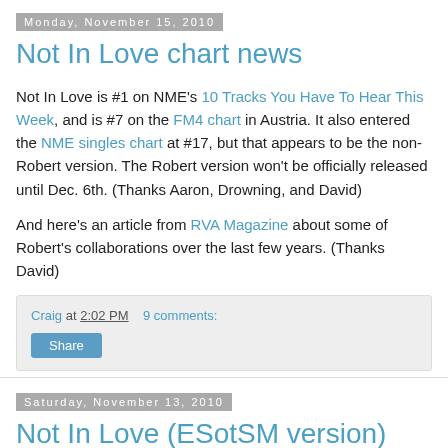Monday, November 15, 2010
Not In Love chart news
Not In Love is #1 on NME's 10 Tracks You Have To Hear This Week, and is #7 on the FM4 chart in Austria. It also entered the NME singles chart at #17, but that appears to be the non-Robert version. The Robert version won't be officially released until Dec. 6th. (Thanks Aaron, Drowning, and David)
And here's an article from RVA Magazine about some of Robert's collaborations over the last few years. (Thanks David)
Craig at 2:02 PM   9 comments:
Saturday, November 13, 2010
Not In Love (ESotSM version)